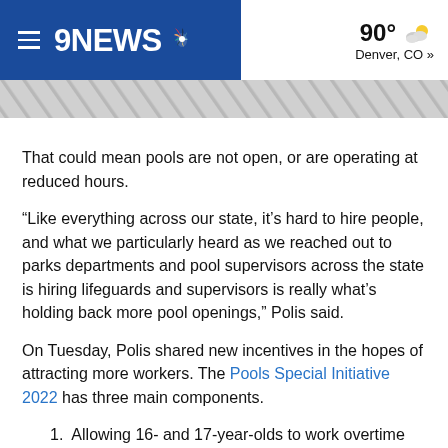9NEWS — 90° Denver, CO »
[Figure (other): Diagonal striped decorative banner]
That could mean pools are not open, or are operating at reduced hours.
“Like everything across our state, it’s hard to hire people, and what we particularly heard as we reached out to parks departments and pool supervisors across the state is hiring lifeguards and supervisors is really what’s holding back more pool openings,” Polis said.
On Tuesday, Polis shared new incentives in the hopes of attracting more workers. The Pools Special Initiative 2022 has three main components.
1. Allowing 16- and 17-year-olds to work overtime without